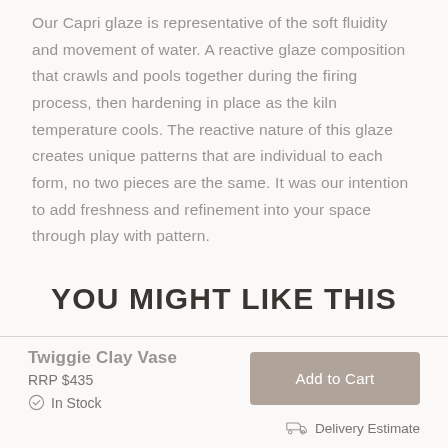Our Capri glaze is representative of the soft fluidity and movement of water. A reactive glaze composition that crawls and pools together during the firing process, then hardening in place as the kiln temperature cools. The reactive nature of this glaze creates unique patterns that are individual to each form, no two pieces are the same. It was our intention to add freshness and refinement into your space through play with pattern.
YOU MIGHT LIKE THIS
Twiggie Clay Vase
RRP $435
In Stock
Add to Cart
Delivery Estimate